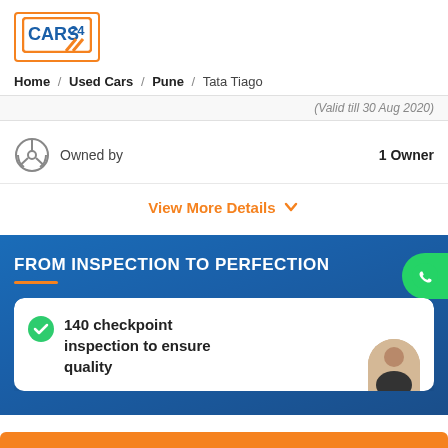CARS24 logo
Home / Used Cars / Pune / Tata Tiago
(Valid till 30 Aug 2020)
Owned by   1 Owner
View More Details
FROM INSPECTION TO PERFECTION
140 checkpoint inspection to ensure quality